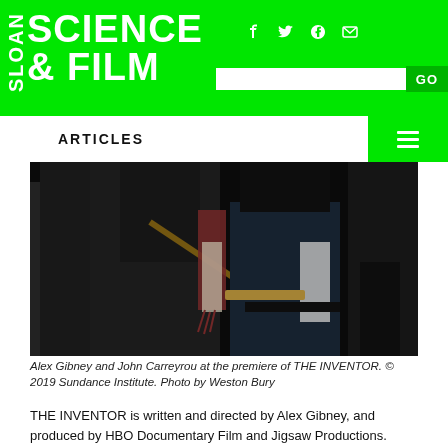SLOAN SCIENCE & FILM
ARTICLES
[Figure (photo): Alex Gibney and John Carreyrou at the premiere of THE INVENTOR, dark background event photo with people holding items]
Alex Gibney and John Carreyrou at the premiere of THE INVENTOR. © 2019 Sundance Institute. Photo by Weston Bury
THE INVENTOR is written and directed by Alex Gibney, and produced by HBO Documentary Film and Jigsaw Productions.